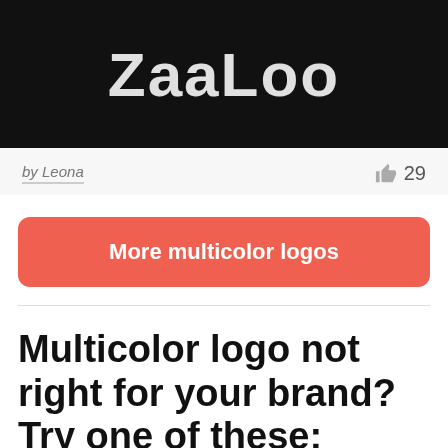[Figure (logo): ZaaLoo logo in large white/grey text on black background]
by Leona
👍 29
More multicolor logos
Multicolor logo not right for your brand? Try one of these: